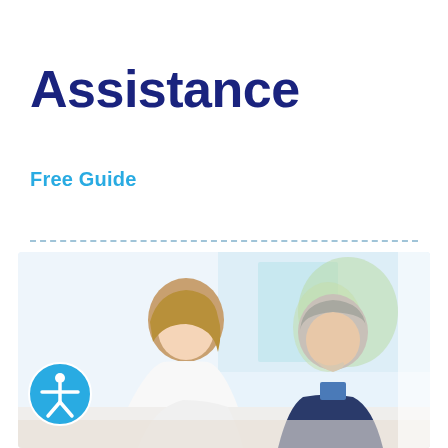Assistance
Free Guide
[Figure (photo): A young woman in a white coat and an older man with gray hair lean together, looking at something off-screen, in a bright room with soft natural light.]
[Figure (logo): Accessibility icon: blue circle with white human figure with arms out]